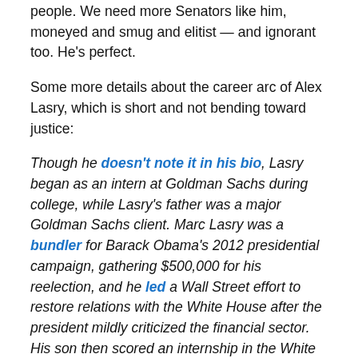people. We need more Senators like him, moneyed and smug and elitist — and ignorant too. He's perfect.
Some more details about the career arc of Alex Lasry, which is short and not bending toward justice:
Though he doesn't note it in his bio, Lasry began as an intern at Goldman Sachs during college, while Lasry's father was a major Goldman Sachs client. Marc Lasry was a bundler for Barack Obama's 2012 presidential campaign, gathering $500,000 for his reelection, and he led a Wall Street effort to restore relations with the White House after the president mildly criticized the financial sector. His son then scored an internship in the White House in the Office of Public Engagement, run by senior adviser Valerie Jarrett, who was one of the White House's key links to the CEO class. The White House gig was his first job out of college, and he rose through the ranks of the office. From there, he returned to Goldman Sachs as